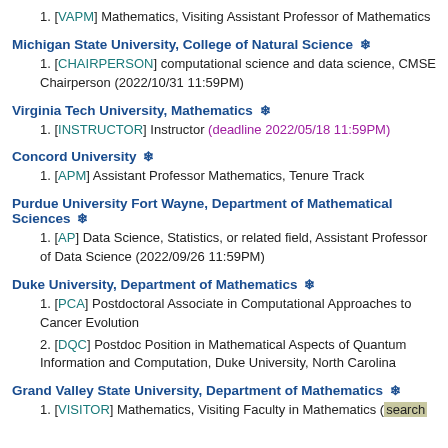1. [VAPM] Mathematics, Visiting Assistant Professor of Mathematics
Michigan State University, College of Natural Science ❄
1. [CHAIRPERSON] computational science and data science, CMSE Chairperson (2022/10/31 11:59PM)
Virginia Tech University, Mathematics ❄
1. [INSTRUCTOR] Instructor (deadline 2022/05/18 11:59PM)
Concord University ❄
1. [APM] Assistant Professor Mathematics, Tenure Track
Purdue University Fort Wayne, Department of Mathematical Sciences ❄
1. [AP] Data Science, Statistics, or related field, Assistant Professor of Data Science (2022/09/26 11:59PM)
Duke University, Department of Mathematics ❄
1. [PCA] Postdoctoral Associate in Computational Approaches to Cancer Evolution
2. [DQC] Postdoc Position in Mathematical Aspects of Quantum Information and Computation, Duke University, North Carolina
Grand Valley State University, Department of Mathematics ❄
1. [VISITOR] Mathematics, Visiting Faculty in Mathematics (search